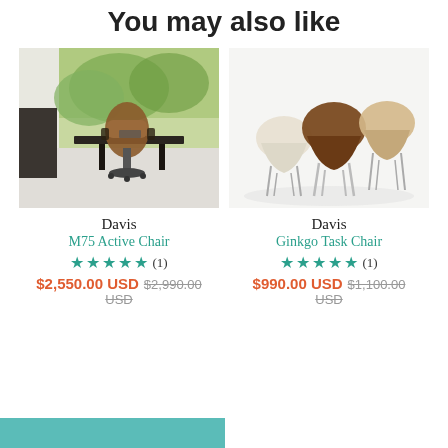You may also like
[Figure (photo): Brown leather executive office chair at a dark desk near a large window with green trees outside]
Davis
M75 Active Chair
★★★★★ (1)
$2,550.00 USD $2,990.00 USD
[Figure (photo): Three modern shell-style dining chairs in cream, walnut brown, and tan with silver legs on a white background]
Davis
Ginkgo Task Chair
★★★★★ (1)
$990.00 USD $1,100.00 USD
[Figure (photo): Partial view of a teal/turquoise colored furniture piece at the bottom of the page]